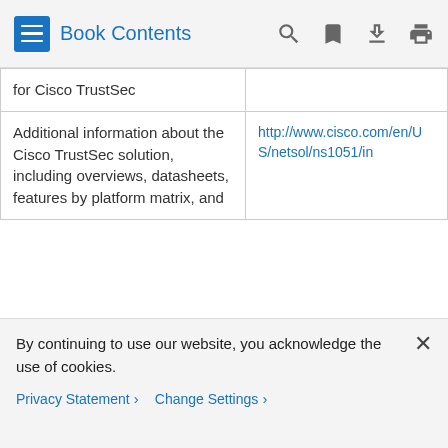Book Contents
|  |  |
| --- | --- |
| for Cisco TrustSec |  |
| Additional information about the Cisco TrustSec solution, including overviews, datasheets, features by platform matrix, and | http://www.cisco.com/en/US/netsol/ns1051/in |
By continuing to use our website, you acknowledge the use of cookies.
Privacy Statement ›   Change Settings ›